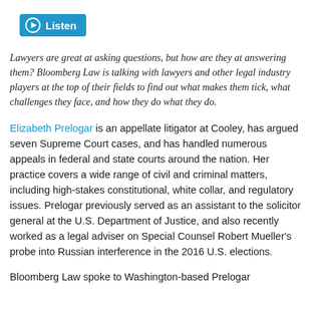[Figure (other): Blue Listen button with play icon]
Lawyers are great at asking questions, but how are they at answering them? Bloomberg Law is talking with lawyers and other legal industry players at the top of their fields to find out what makes them tick, what challenges they face, and how they do what they do.
Elizabeth Prelogar is an appellate litigator at Cooley, has argued seven Supreme Court cases, and has handled numerous appeals in federal and state courts around the nation. Her practice covers a wide range of civil and criminal matters, including high-stakes constitutional, white collar, and regulatory issues. Prelogar previously served as an assistant to the solicitor general at the U.S. Department of Justice, and also recently worked as a legal adviser on Special Counsel Robert Mueller’s probe into Russian interference in the 2016 U.S. elections.
Bloomberg Law spoke to Washington-based Prelogar about a list from the Supreme Court about that recent